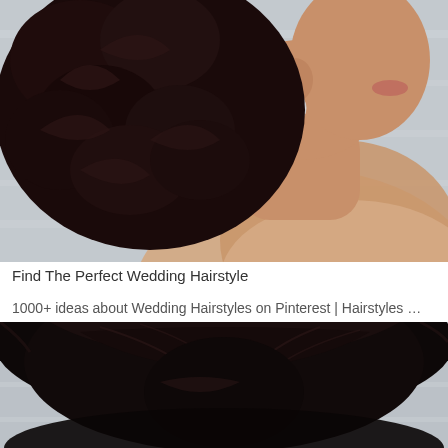[Figure (photo): Side profile of a bride with dark curly updo hairstyle and a teardrop crystal earring, against a light gray background]
Find The Perfect Wedding Hairstyle
1000+ ideas about Wedding Hairstyles on Pinterest | Hairstyles …
[Figure (photo): Back view of a woman with dark hair in an elegant updo hairstyle, against a light gray background]